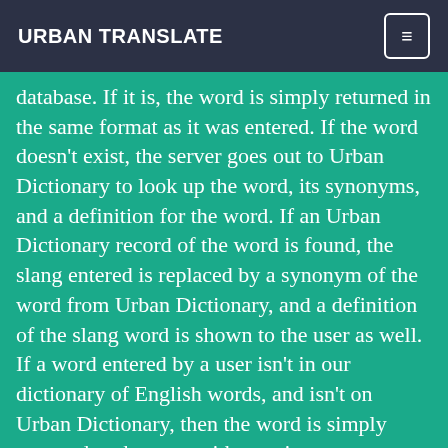URBAN TRANSLATE
database. If it is, the word is simply returned in the same format as it was entered. If the word doesn't exist, the server goes out to Urban Dictionary to look up the word, its synonyms, and a definition for the word. If an Urban Dictionary record of the word is found, the slang entered is replaced by a synonym of the word from Urban Dictionary, and a definition of the slang word is shown to the user as well. If a word entered by a user isn't in our dictionary of English words, and isn't on Urban Dictionary, then the word is simply returned to the user, with a notice